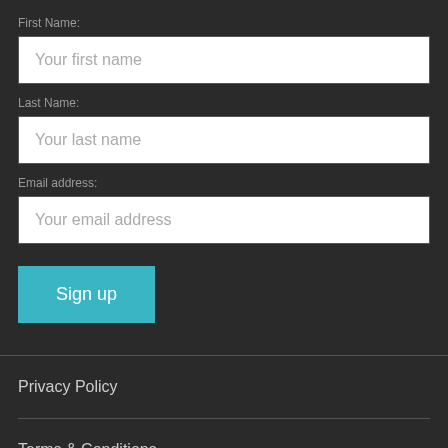First Name:
[Figure (screenshot): Text input field with placeholder 'Your first name']
Last Name:
[Figure (screenshot): Text input field with placeholder 'Your last name']
Email address:
[Figure (screenshot): Text input field with placeholder 'Your email address']
[Figure (screenshot): Teal 'Sign up' button]
Privacy Policy
Terms & Conditions